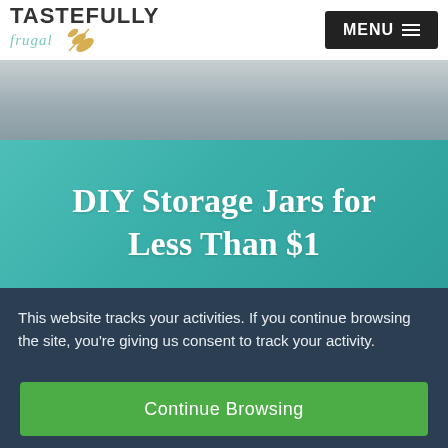[Figure (logo): Tastefully Frugal logo with teal script text and gold wheat/leaf illustration]
[Figure (photo): Partial photo of jars or kitchen items, grey/blurred background]
DIY Storage Jars for Less Than $1
I remember when I was 9 months pregnant with
This website tracks your activities. If you continue browsing the site, you're giving us consent to track your activity.
Continue Browsing